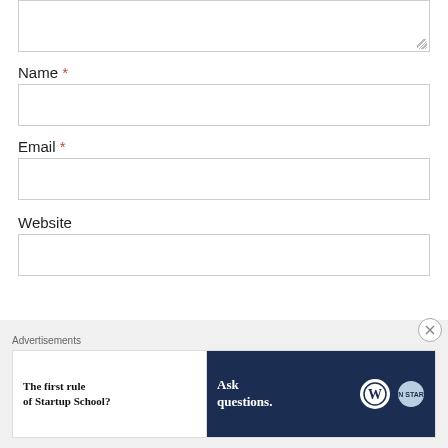[Figure (screenshot): Textarea input box (top, partially visible) with resize handle in bottom-right corner]
Name *
[Figure (screenshot): Name text input field (empty)]
Email *
[Figure (screenshot): Email text input field (empty)]
Website
[Figure (screenshot): Website text input field (empty)]
Advertisements
[Figure (screenshot): Advertisement banner: left white panel 'The first rule of Startup School?', right dark navy panel 'Ask questions.' with WordPress and SM logos]